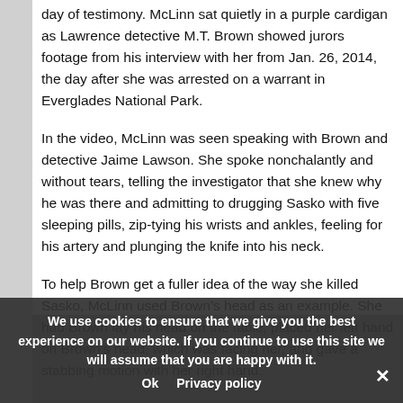day of testimony. McLinn sat quietly in a purple cardigan as Lawrence detective M.T. Brown showed jurors footage from his interview with her from Jan. 26, 2014, the day after she was arrested on a warrant in Everglades National Park.
In the video, McLinn was seen speaking with Brown and detective Jaime Lawson. She spoke nonchalantly and without tears, telling the investigator that she knew why he was there and admitting to drugging Sasko with five sleeping pills, zip-tying his wrists and ankles, feeling for his artery and plunging the knife into his neck.
To help Brown get a fuller idea of the way she killed Sasko, McLinn used Brown's head as an example. She had Brown lay his head on the table, placed her left hand on Brown's head, which was facing her, and gave a stabbing motion with her right hand.
“That’s when I ran it through with the blade face down, and I then pulled down,” McLinn said.
McLinn then described writing on the wall in Sasko’s blood, showering off his blood, packing her clothes in trash bags and putting her dog in Sasko’s Nissan Altima. Be[Ok Privacy policy] said, she called her sister and grandmother because she wanted them “to think (she) was
We use cookies to ensure that we give you the best experience on our website. If you continue to use this site we will assume that you are happy with it.